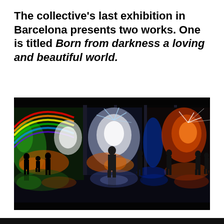The collective's last exhibition in Barcelona presents two works. One is titled Born from darkness a loving and beautiful world.
[Figure (photo): A dark immersive exhibition space with colorful projections of abstract art — rainbows, glowing plants, fireworks-like patterns in orange, green, blue, and white — projected on walls and floor. Several silhouetted figures of visitors stand and walk through the illuminated space, with their reflections visible on the glossy floor.]